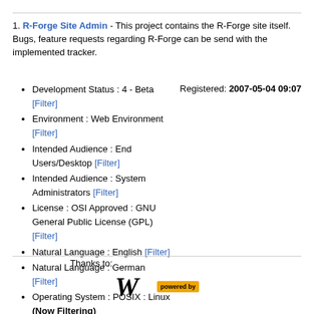1. R-Forge Site Admin - This project contains the R-Forge site itself. Bugs, feature requests regarding R-Forge can be send with the implemented tracker.
Development Status : 4 - Beta [Filter]
Environment : Web Environment [Filter]
Intended Audience : End Users/Desktop [Filter]
Intended Audience : System Administrators [Filter]
License : OSI Approved : GNU General Public License (GPL) [Filter]
Natural Language : English [Filter]
Natural Language : German [Filter]
Operating System : POSIX : Linux (Now Filtering)
Programming Language : PHP [Filter]
Programming Language : Perl [Filter]
Programming Language : Unix Shell [Filter]
Topic : Software Development [Filter]
Registered: 2007-05-04 09:07
Thanks to:
[Figure (logo): Wikimedia W logo and powered-by badge]